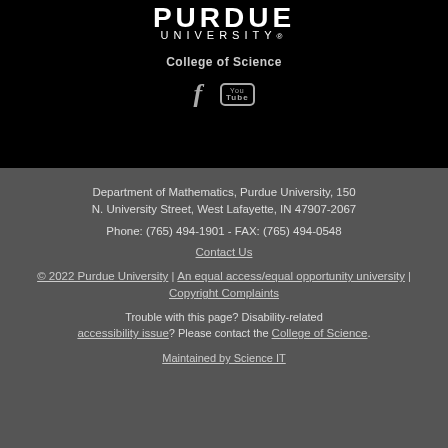[Figure (logo): Purdue University logo with 'PURDUE UNIVERSITY.' text in white on black background]
College of Science
[Figure (other): Facebook and YouTube social media icons in gray on black background]
Department of Mathematics, Purdue University, 150 N. University Street, West Lafayette, IN 47907-2067
Phone: (765) 494-1901 - FAX: (765) 494-0548
Contact Us
© 2022 Purdue University | An equal access/equal opportunity university | Copyright Complaints
Trouble with this page? Disability-related accessibility issue? Please contact the College of Science.
Maintained by Science IT